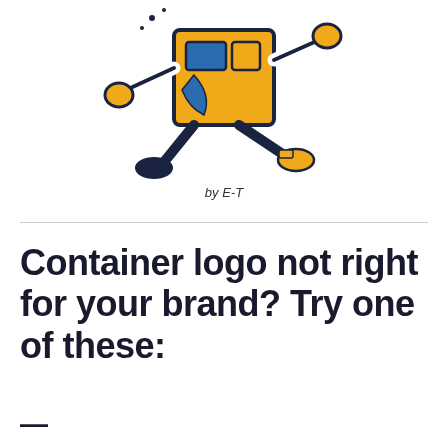[Figure (illustration): Animated cartoon illustration of a running box/container character with arms, legs, and a face, colored in gold/yellow, dark navy, and blue, drawn in a retro comic style]
by E-T
Container logo not right for your brand? Try one of these: